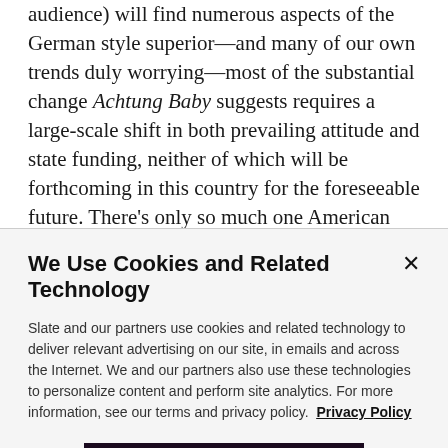audience) will find numerous aspects of the German style superior—and many of our own trends duly worrying—most of the substantial change Achtung Baby suggests requires a large-scale shift in both prevailing attitude and state funding, neither of which will be forthcoming in this country for the foreseeable future. There's only so much one American parent can do—I and my sad little bike commute can certainly attest to that. And what's more, there's only so much
We Use Cookies and Related Technology
Slate and our partners use cookies and related technology to deliver relevant advertising on our site, in emails and across the Internet. We and our partners also use these technologies to personalize content and perform site analytics. For more information, see our terms and privacy policy.  Privacy Policy
OK